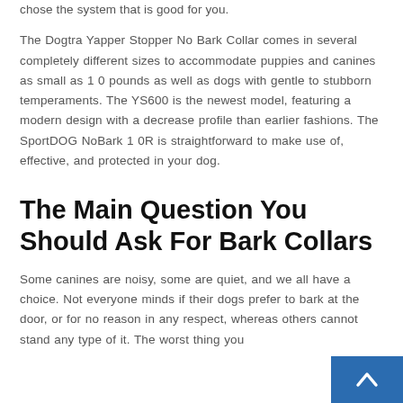chose the system that is good for you.
The Dogtra Yapper Stopper No Bark Collar comes in several completely different sizes to accommodate puppies and canines as small as 10 pounds as well as dogs with gentle to stubborn temperaments. The YS600 is the newest model, featuring a modern design with a decrease profile than earlier fashions. The SportDOG NoBark 10R is straightforward to make use of, effective, and protected in your dog.
The Main Question You Should Ask For Bark Collars
Some canines are noisy, some are quiet, and we all have a choice. Not everyone minds if their dogs prefer to bark at the door, or for no reason in any respect, whereas others cannot stand any type of it. The worst thing you